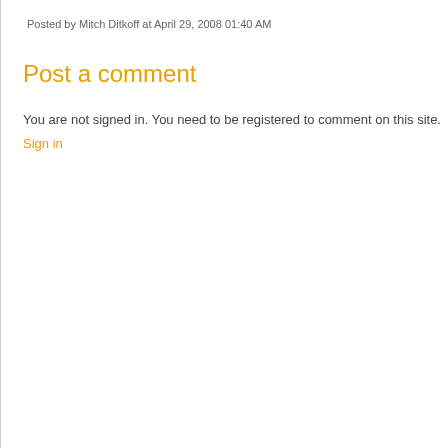Posted by Mitch Ditkoff at April 29, 2008 01:40 AM
Post a comment
You are not signed in. You need to be registered to comment on this site.
Sign in